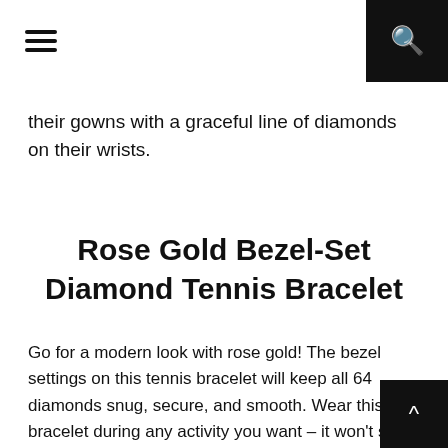≡  🔍
their gowns with a graceful line of diamonds on their wrists.
Rose Gold Bezel-Set Diamond Tennis Bracelet
Go for a modern look with rose gold! The bezel settings on this tennis bracelet will keep all 64 diamonds snug, secure, and smooth. Wear this bracelet during any activity you want – it won't snag on fabric or get in the way of your active lifestyle!
^